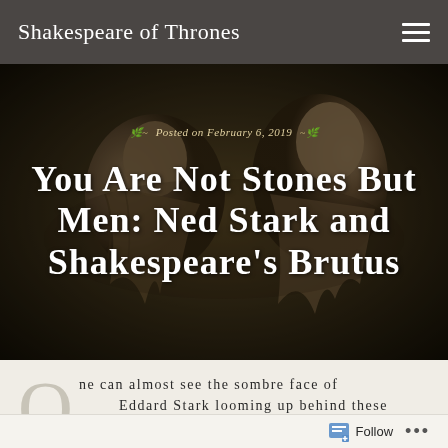Shakespeare of Thrones
[Figure (photo): Sepia-toned photograph of two classical stone busts/statues with a dark background, used as hero image for blog post]
Posted on February 6, 2019
You Are Not Stones But Men: Ned Stark and Shakespeare's Brutus
One can almost see the sombre face of Eddard Stark looming up behind these lines:
BRUTUS: